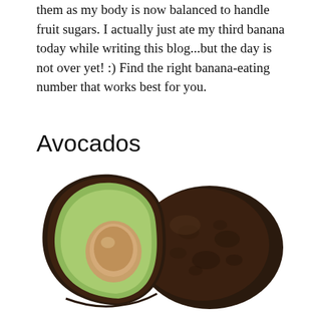them as my body is now balanced to handle fruit sugars. I actually just ate my third banana today while writing this blog...but the day is not over yet! :) Find the right banana-eating number that works best for you.
Avocados
[Figure (photo): Two avocados — one halved showing green flesh and brown seed, leaning against one whole dark-skinned avocado, on white background.]